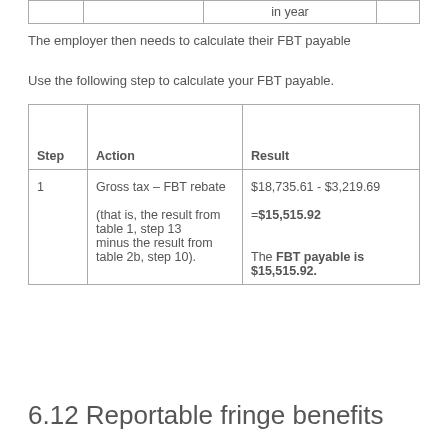|  |  | in year |
| --- | --- | --- |
|  |
The employer then needs to calculate their FBT payable
Use the following step to calculate your FBT payable.
| Step | Action | Result |
| --- | --- | --- |
| 1 | Gross tax – FBT rebate
(that is, the result from table 1, step 13 minus the result from table 2b, step 10). | $18,735.61 - $3,219.69
= $15,515.92
The FBT payable is $15,515.92. |
6.12 Reportable fringe benefits